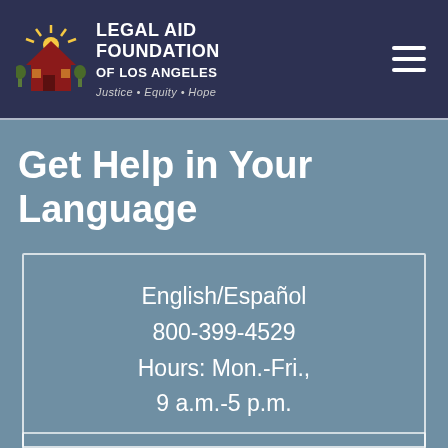[Figure (logo): Legal Aid Foundation of Los Angeles logo with house/sun graphic and text 'LEGAL AID FOUNDATION OF LOS ANGELES', tagline 'Justice · Equity · Hope']
Get Help in Your Language
English/Español
800-399-4529
Hours: Mon.-Fri.,
9 a.m.-5 p.m.